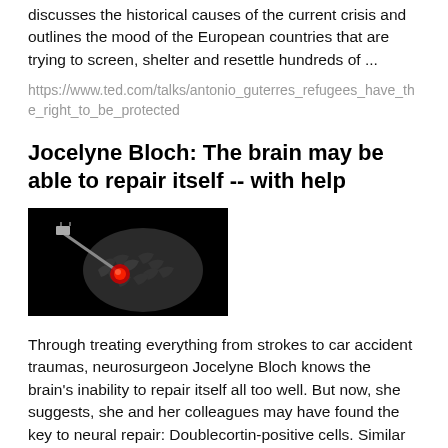discusses the historical causes of the current crisis and outlines the mood of the European countries that are trying to screen, shelter and resettle hundreds of ...
https://www.ted.com/talks/antonio_guterres_refugees_have_the_right_to_be_protected
Jocelyne Bloch: The brain may be able to repair itself -- with help
[Figure (photo): Dark illustration of a human brain with a syringe injecting a red glowing substance into it, on a black background.]
Through treating everything from strokes to car accident traumas, neurosurgeon Jocelyne Bloch knows the brain's inability to repair itself all too well. But now, she suggests, she and her colleagues may have found the key to neural repair: Doublecortin-positive cells. Similar to stem cells, they are extremely adaptable and, when extracted from a...
https://www.ted.com/talks/jocelyne_bloch_the_brain_may_be_abl